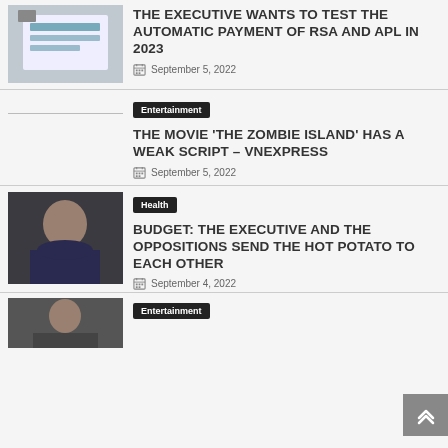[Figure (photo): Screenshot of a computer/monitor screen]
THE EXECUTIVE WANTS TO TEST THE AUTOMATIC PAYMENT OF RSA AND APL IN 2023
September 5, 2022
Entertainment
THE MOVIE ‘THE ZOMBIE ISLAND’ HAS A WEAK SCRIPT – VNEXPRESS
September 5, 2022
[Figure (photo): Person in dark clothing against a dark background]
Health
BUDGET: THE EXECUTIVE AND THE OPPOSITIONS SEND THE HOT POTATO TO EACH OTHER
September 4, 2022
[Figure (photo): Person photo partially visible]
Entertainment